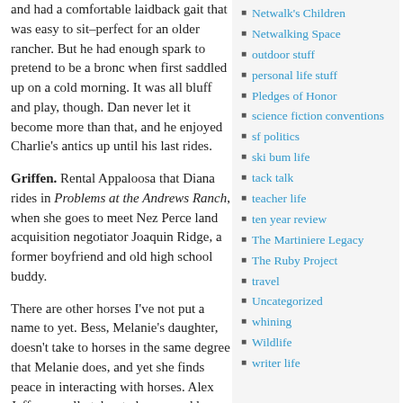and had a comfortable laidback gait that was easy to sit–perfect for an older rancher. But he had enough spark to pretend to be a bronc when first saddled up on a cold morning. It was all bluff and play, though. Dan never let it become more than that, and he enjoyed Charlie's antics up until his last rides.
Griffen. Rental Appaloosa that Diana rides in Problems at the Andrews Ranch, when she goes to meet Nez Perce land acquisition negotiator Joaquin Ridge, a former boyfriend and old high school buddy.
There are other horses I've not put a name to yet. Bess, Melanie's daughter, doesn't take to horses in the same degree that Melanie does, and yet she finds peace in interacting with horses. Alex Jeffreys really takes to horses and he rides a black silver dapple Rocky Mountain
Netwalk's Children
Netwalking Space
outdoor stuff
personal life stuff
Pledges of Honor
science fiction conventions
sf politics
ski bum life
tack talk
teacher life
ten year review
The Martiniere Legacy
The Ruby Project
travel
Uncategorized
whining
Wildlife
writer life